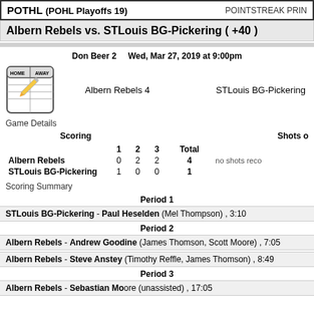POTHL (POHL Playoffs 19) POINTSTREAK PRIN
Albern Rebels vs. STLouis BG-Pickering ( +40 )
Don Beer 2   Wed, Mar 27, 2019 at 9:00pm
[Figure (illustration): Scorepad icon with HOME/AWAY columns and pencil]
Albern Rebels 4   STLouis BG-Pickering
Game Details
|  | 1 | 2 | 3 | Total |  |
| --- | --- | --- | --- | --- | --- |
| Albern Rebels | 0 | 2 | 2 | 4 | no shots reco |
| STLouis BG-Pickering | 1 | 0 | 0 | 1 |  |
Scoring Summary
Period 1
STLouis BG-Pickering - Paul Heselden (Mel Thompson) , 3:10
Period 2
Albern Rebels - Andrew Goodine (James Thomson, Scott Moore) , 7:05
Albern Rebels - Steve Anstey (Timothy Reffle, James Thomson) , 8:49
Period 3
Albern Rebels - Sebastian Moore (unassisted) , 17:05